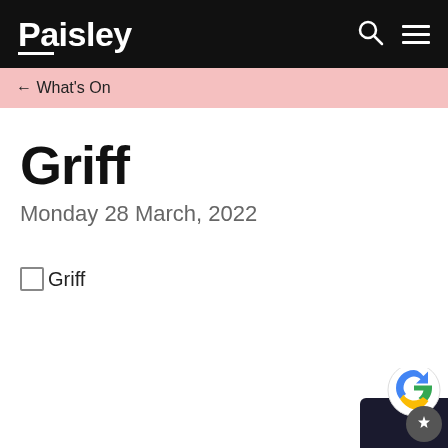Paisley
← What's On
Griff
Monday 28 March, 2022
Griff